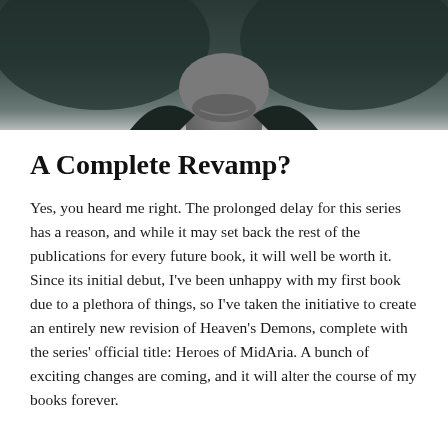[Figure (photo): A dark, moody photo of a person's neck and lower face, wearing a dark garment, against a dark teal/grey background.]
A Complete Revamp?
Yes, you heard me right. The prolonged delay for this series has a reason, and while it may set back the rest of the publications for every future book, it will well be worth it.
Since its initial debut, I've been unhappy with my first book due to a plethora of things, so I've taken the initiative to create an entirely new revision of Heaven's Demons, complete with the series' official title: Heroes of MidAria. A bunch of exciting changes are coming, and it will alter the course of my books forever.